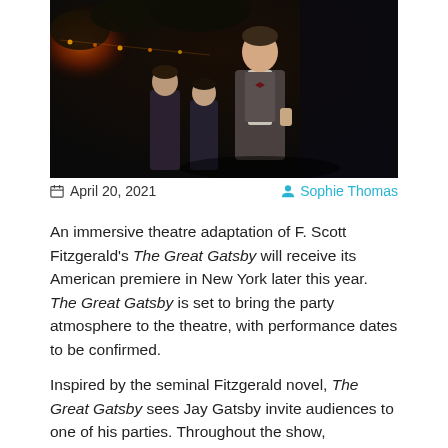[Figure (photo): Theatre production photo showing a man in a waistcoat and bow-tie standing centre stage with dramatic lighting and foliage in the background, other actors visible behind him]
April 20, 2021   Sophie Thomas
An immersive theatre adaptation of F. Scott Fitzgerald's The Great Gatsby will receive its American premiere in New York later this year. The Great Gatsby is set to bring the party atmosphere to the theatre, with performance dates to be confirmed.
Inspired by the seminal Fitzgerald novel, The Great Gatsby sees Jay Gatsby invite audiences to one of his parties. Throughout the show, audiences are invited into side stories with Daisy and Tom, as the main action unfolds.